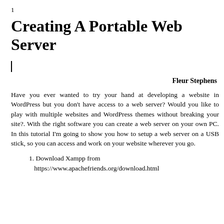1
Creating A Portable Web Server
|
Fleur Stephens
Have you ever wanted to try your hand at developing a website in WordPress but you don't have access to a web server? Would you like to play with multiple websites and WordPress themes without breaking your site?. With the right software you can create a web server on your own PC. In this tutorial I'm going to show you how to setup a web server on a USB stick, so you can access and work on your website wherever you go.
1. Download Xampp from https://www.apachefriends.org/download.html